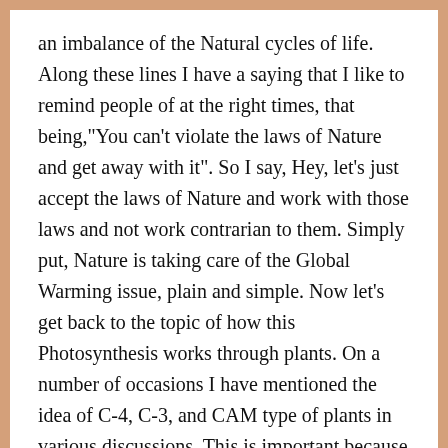an imbalance of the Natural cycles of life. Along these lines I have a saying that I like to remind people of at the right times, that being,"You can't violate the laws of Nature and get away with it". So I say, Hey, let's just accept the laws of Nature and work with those laws and not work contrarian to them. Simply put, Nature is taking care of the Global Warming issue, plain and simple. Now let's get back to the topic of how this Photosynthesis works through plants. On a number of occasions I have mentioned the idea of C-4, C-3, and CAM type of plants in various discussions. This is important because it helps us to understand how these plants, at least presently understood, converts Sunlight Energy into Chemical Energy. The "C" part sort of represents the idea of how...